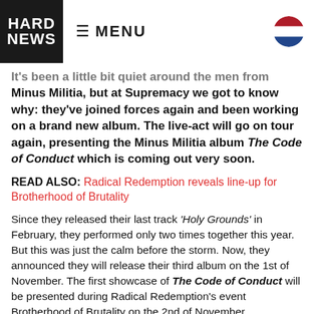HARD NEWS | MENU
It's been a little bit quiet around the men from Minus Militia, but at Supremacy we got to know why: they've joined forces again and been working on a brand new album. The live-act will go on tour again, presenting the Minus Militia album The Code of Conduct which is coming out very soon.
READ ALSO: Radical Redemption reveals line-up for Brotherhood of Brutality
Since they released their last track 'Holy Grounds' in February, they performed only two times together this year. But this was just the calm before the storm. Now, they announced they will release their third album on the 1st of November. The first showcase of The Code of Conduct will be presented during Radical Redemption's event Brotherhood of Brutality on the 2nd of November.